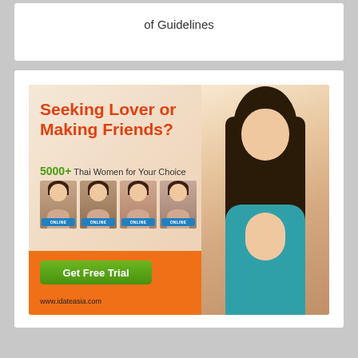of Guidelines
[Figure (advertisement): Dating website advertisement for www.idateasia.com showing Thai women profiles with text 'Seeking Lover or Making Friends? 5000+ Thai Women for Your Choice' and a 'Get Free Trial' green button on orange background. A woman in teal shirt is shown on the right side.]